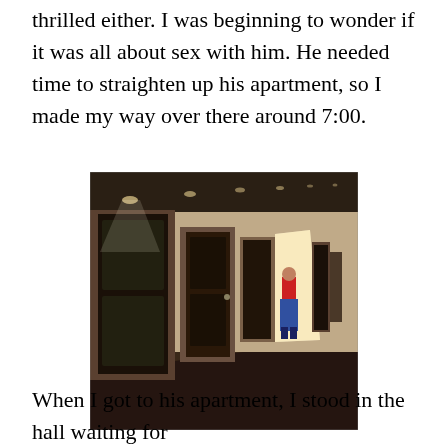thrilled either. I was beginning to wonder if it was all about sex with him. He needed time to straighten up his apartment, so I made my way over there around 7:00.
[Figure (photo): A dimly lit apartment hallway with multiple doors. A person in a red shirt and jeans stands near one of the doorways, illuminated by light spilling from an open door. The corridor has recessed ceiling lights and dark carpet.]
When I got to his apartment, I stood in the hall waiting for